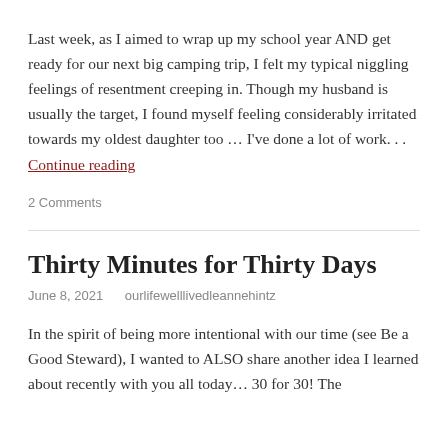Last week, as I aimed to wrap up my school year AND get ready for our next big camping trip, I felt my typical niggling feelings of resentment creeping in. Though my husband is usually the target, I found myself feeling considerably irritated towards my oldest daughter too … I've done a lot of work. . . Continue reading
2 Comments
Thirty Minutes for Thirty Days
June 8, 2021   ourlifewelllivedleannehintz
In the spirit of being more intentional with our time (see Be a Good Steward), I wanted to ALSO share another idea I learned about recently with you all today… 30 for 30! The